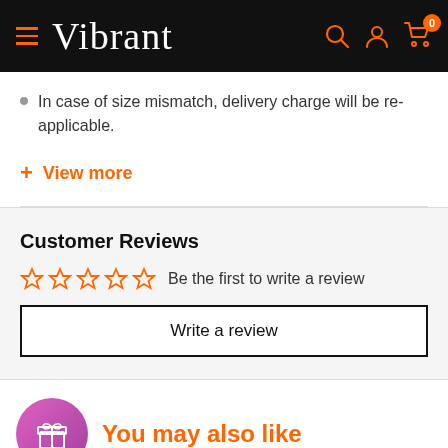Vibrant
In case of size mismatch, delivery charge will be re-applicable.
+ View more
Customer Reviews
☆☆☆☆☆ Be the first to write a review
Write a review
You may also like